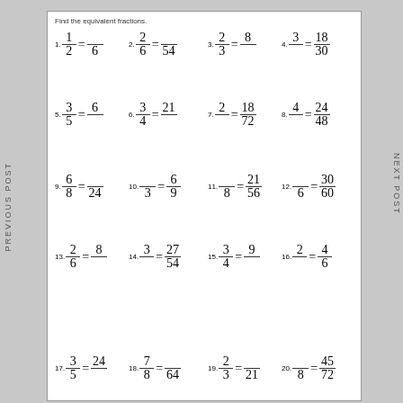Find the equivalent fractions.